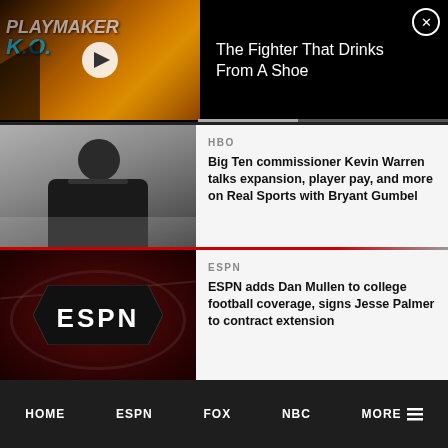[Figure (screenshot): Video thumbnail for 'Playmaker K.O.' show with play button overlay]
The Fighter That Drinks From A Shoe
[Figure (photo): Man in dark suit (Big Ten commissioner Kevin Warren)]
HBO
Big Ten commissioner Kevin Warren talks expansion, player pay, and more on Real Sports with Bryant Gumbel
[Figure (photo): ESPN logo on dark red football background]
ESPN
ESPN adds Dan Mullen to college football coverage, signs Jesse Palmer to contract extension
HOME  ESPN  FOX  NBC  MORE